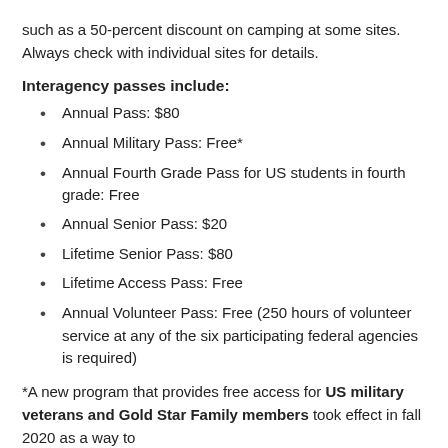such as a 50-percent discount on camping at some sites. Always check with individual sites for details.
Interagency passes include:
Annual Pass: $80
Annual Military Pass: Free*
Annual Fourth Grade Pass for US students in fourth grade: Free
Annual Senior Pass: $20
Lifetime Senior Pass: $80
Lifetime Access Pass: Free
Annual Volunteer Pass: Free (250 hours of volunteer service at any of the six participating federal agencies is required)
*A new program that provides free access for US military veterans and Gold Star Family members took effect in fall 2020 as a way to